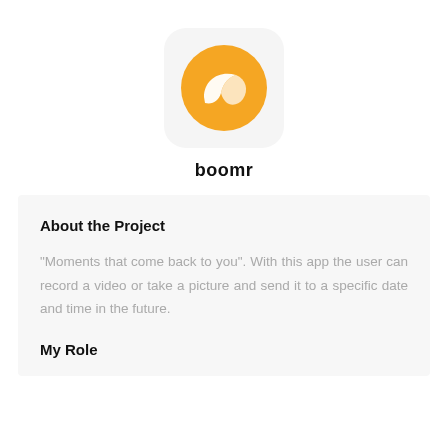[Figure (logo): Boomr app icon: orange circle with a white boomerang/folder shape inside, displayed on a light gray rounded square background]
boomr
About the Project
"Moments that come back to you". With this app the user can record a video or take a picture and send it to a specific date and time in the future.
My Role